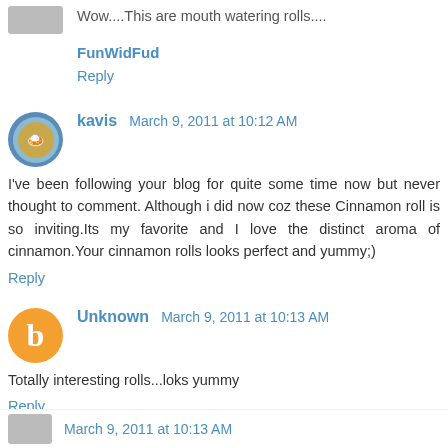Wow....This are mouth watering rolls....
FunWidFud
Reply
kavis  March 9, 2011 at 10:12 AM
I've been following your blog for quite some time now but never thought to comment. Although i did now coz these Cinnamon roll is so inviting.Its my favorite and I love the distinct aroma of cinnamon.Your cinnamon rolls looks perfect and yummy;)
Reply
Unknown  March 9, 2011 at 10:13 AM
Totally interesting rolls...loks yummy
Reply
March 9, 2011 at 10:13 AM